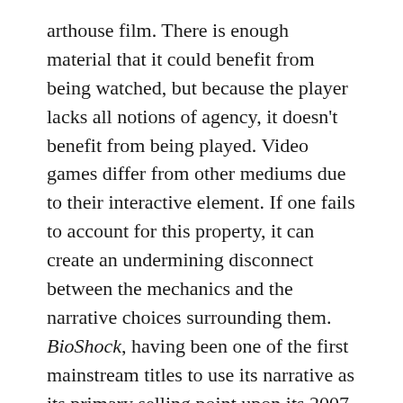arthouse film. There is enough material that it could benefit from being watched, but because the player lacks all notions of agency, it doesn't benefit from being played. Video games differ from other mediums due to their interactive element. If one fails to account for this property, it can create an undermining disconnect between the mechanics and the narrative choices surrounding them. BioShock, having been one of the first mainstream titles to use its narrative as its primary selling point upon its 2007 release, was subject to this criticism as a result of the creators handling its central plot twist improperly.
Technically speaking, Dear Esther does not suffer from this disconnect. Unfortunately, the way it resolves this problem is consistent with how the rest of the experience goes about doing so. In other words, it